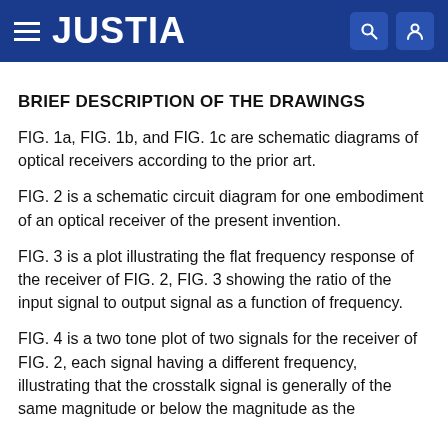JUSTIA
BRIEF DESCRIPTION OF THE DRAWINGS
FIG. 1a, FIG. 1b, and FIG. 1c are schematic diagrams of optical receivers according to the prior art.
FIG. 2 is a schematic circuit diagram for one embodiment of an optical receiver of the present invention.
FIG. 3 is a plot illustrating the flat frequency response of the receiver of FIG. 2, FIG. 3 showing the ratio of the input signal to output signal as a function of frequency.
FIG. 4 is a two tone plot of two signals for the receiver of FIG. 2, each signal having a different frequency, illustrating that the crosstalk signal is generally of the same magnitude or below the magnitude as the